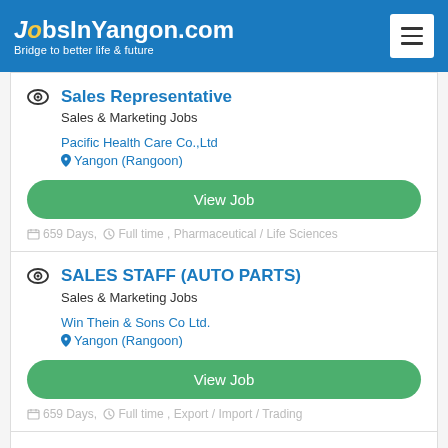JobsInYangon.com — Bridge to better life & future
Sales Representative
Sales & Marketing Jobs
Pacific Health Care Co.,Ltd
Yangon (Rangoon)
View Job
659 Days, Full time , Pharmaceutical / Life Sciences
SALES STAFF (AUTO PARTS)
Sales & Marketing Jobs
Win Thein & Sons Co Ltd.
Yangon (Rangoon)
View Job
659 Days, Full time , Export / Import / Trading
Sales Staff
Sales & Marketing Jobs